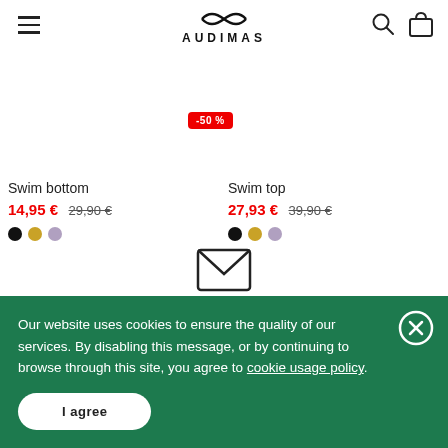AUDIMAS navigation header with hamburger menu, logo, search and cart icons
Swim bottom
14,95 € 29,90 €
Swim top
27,93 € 39,90 €
[Figure (other): Envelope/mail icon for newsletter subscription]
Subscribe to our newsletter
Our website uses cookies to ensure the quality of our services. By disabling this message, or by continuing to browse through this site, you agree to cookie usage policy.
I agree